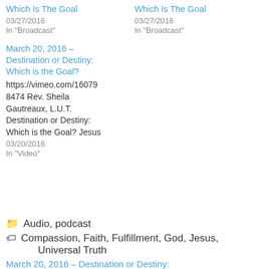Which Is The Goal
03/27/2016
In "Broadcast"
Which Is The Goal
03/27/2016
In "Broadcast"
March 20, 2016 – Destination or Destiny: Which is the Goal?
https://vimeo.com/160798474 Rev. Sheila Gautreaux, L.U.T. Destination or Destiny: Which is the Goal? Jesus
03/20/2016
In "Video"
Audio, podcast
Compassion, Faith, Fulfillment, God, Jesus, Universal Truth
March 20, 2016 – Destination or Destiny: